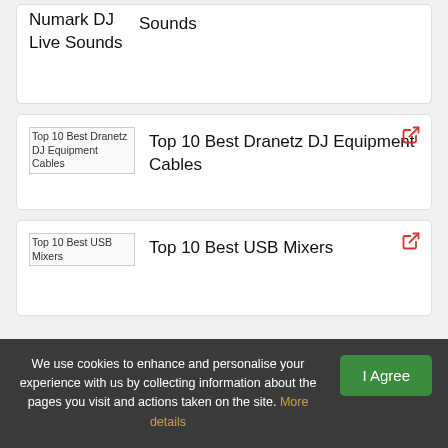Numark DJ Live Sounds
Sounds
Top 10 Best Dranetz DJ Equipment Cables
Top 10 Best Dranetz DJ Equipment Cables
Top 10 Best USB Mixers
Top 10 Best USB Mixers
We use cookies to enhance and personalise your experience with us by collecting information about the pages you visit and actions taken on the site. More details
I Agree